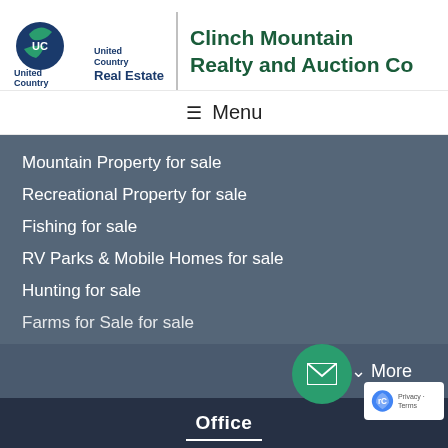[Figure (logo): United Country Real Estate logo with globe icon and text]
Clinch Mountain Realty and Auction Co
☰ Menu
Mountain Property for sale
Recreational Property for sale
Fishing for sale
RV Parks & Mobile Homes for sale
Hunting for sale
Farms for Sale for sale
∨ More
Office
CLINCH MOUNTAIN REALTY AND AUCTION CO